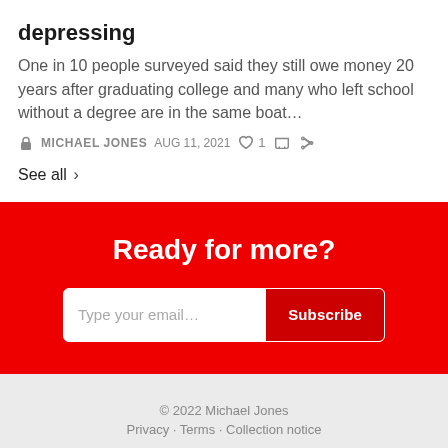depressing
One in 10 people surveyed said they still owe money 20 years after graduating college and many who left school without a degree are in the same boat…
MICHAEL JONES  AUG 11, 2021  ♡ 1
See all ›
Ready for more?
Type your email… Subscribe
© 2022 Michael Jones
Privacy · Terms · Collection notice